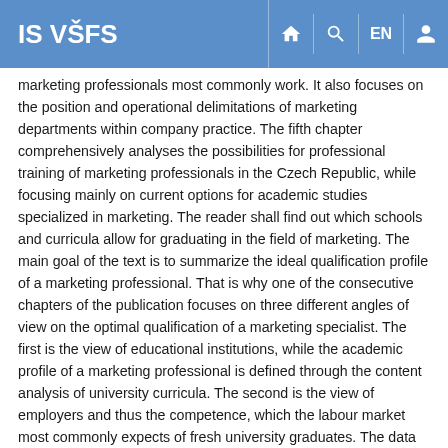IS VŠFS
marketing professionals most commonly work. It also focuses on the position and operational delimitations of marketing departments within company practice. The fifth chapter comprehensively analyses the possibilities for professional training of marketing professionals in the Czech Republic, while focusing mainly on current options for academic studies specialized in marketing. The reader shall find out which schools and curricula allow for graduating in the field of marketing. The main goal of the text is to summarize the ideal qualification profile of a marketing professional. That is why one of the consecutive chapters of the publication focuses on three different angles of view on the optimal qualification of a marketing specialist. The first is the view of educational institutions, while the academic profile of a marketing professional is defined through the content analysis of university curricula. The second is the view of employers and thus the competence, which the labour market most commonly expects of fresh university graduates. The data come both from research carried out among human resources professionals in the largest Czech firms as well as from job-related advertising. The third point of view on the ideal qualification profile of a marketing professional comes from the marketers themselves. The text presents several empirical